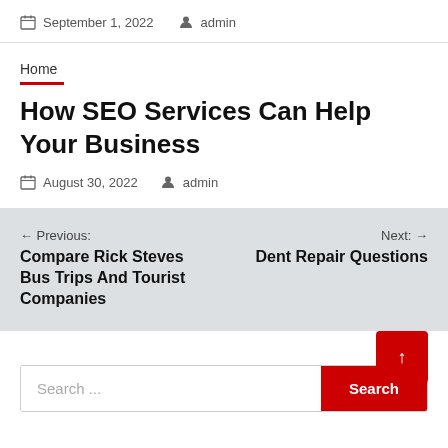September 1, 2022  admin
Home
How SEO Services Can Help Your Business
August 30, 2022  admin
← Previous: Compare Rick Steves Bus Trips And Tourist Companies
Next: → Dent Repair Questions
Search ...